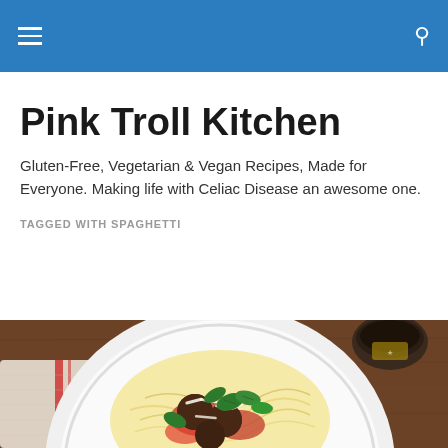Navigation bar with hamburger menu and search icon
Pink Troll Kitchen
Gluten-Free, Vegetarian & Vegan Recipes, Made for Everyone. Making life with Celiac Disease an awesome one.
TAGGED WITH SPAGHETTI
[Figure (photo): Overhead photo of a white plate of spaghetti with meatballs, tomato sauce, shredded cheese and fresh basil leaves on a wooden table, with a dark cup in the upper right corner and a striped cloth napkin to the left.]